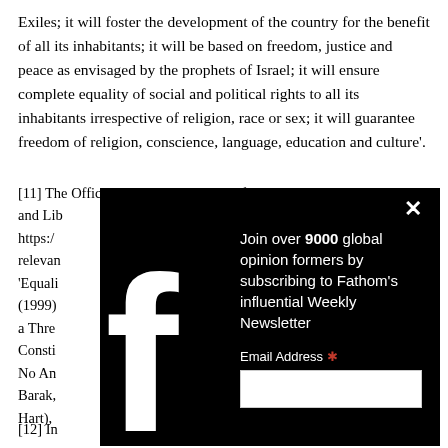Exiles; it will foster the development of the country for the benefit of all its inhabitants; it will be based on freedom, justice and peace as envisaged by the prophets of Israel; it will ensure complete equality of social and political rights to all its inhabitants irrespective of religion, race or sex; it will guarantee freedom of religion, conscience, language, education and culture'.
[11] The Official Knesset translation of Basic Law Human Dignity and Liberty can be found at: https://... relevant... 'Equality'... (1999)... a Three... Constitution... No An... Barak,... Hart),...
[Figure (screenshot): A Facebook popup/modal overlay with dark background showing: 'Join over 9000 global opinion formers by subscribing to Fathom's influential Weekly Newsletter' with an Email Address field and a close X button. A large white Facebook 'f' logo appears on the left side of the popup.]
[12] In...